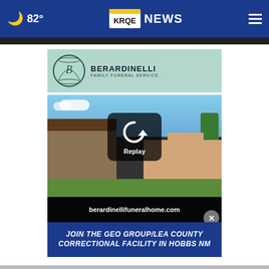82° KRQE NEWS
[Figure (logo): Berardinelli Family Funeral Service logo banner]
[Figure (screenshot): Video replay screen showing Berardinelli Funeral Home building exterior with Replay button overlay and berardinellifuneralhome.com text]
JOIN THE GEO GROUP/LEA COUNTY CORRECTIONAL FACILITY IN HOBBS NM